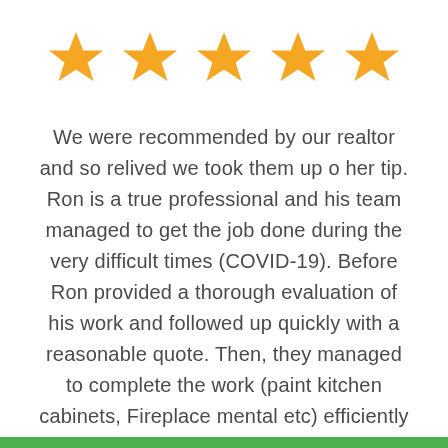[Figure (other): Five gold/orange star rating icons arranged in a horizontal row]
We were recommended by our realtor and so relived we took them up o her tip. Ron is a true professional and his team managed to get the job done during the very difficult times (COVID-19). Before Ron provided a thorough evaluation of his work and followed up quickly with a reasonable quote. Then, they managed to complete the work (paint kitchen cabinets, Fireplace mental etc) efficiently and with quality in